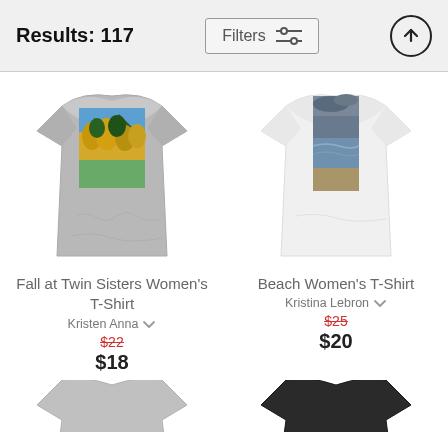Results: 117 | Filters | (up arrow button)
[Figure (photo): Gray women's t-shirt with mountain/fall foliage landscape photo print]
[Figure (photo): White women's t-shirt with beach/ocean stormy sky photo print]
Fall at Twin Sisters Women's T-Shirt
Kristen Anna
$22 (strikethrough) $18
Beach Women's T-Shirt
Kristina Lebron
$25 (strikethrough) $20
[Figure (photo): Gray t-shirt partially visible at bottom left]
[Figure (photo): Black t-shirt partially visible at bottom right]